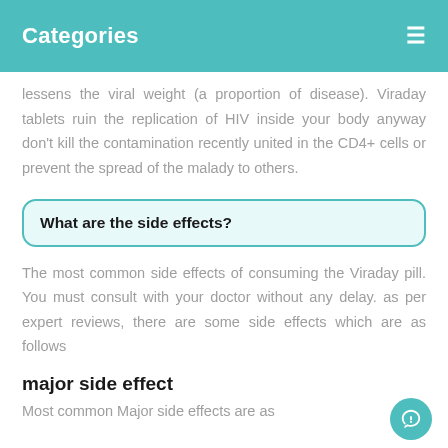Categories
lessens the viral weight (a proportion of disease). Viraday tablets ruin the replication of HIV inside your body anyway don't kill the contamination recently united in the CD4+ cells or prevent the spread of the malady to others.
What are the side effects?
The most common side effects of consuming the Viraday pill. You must consult with your doctor without any delay. as per expert reviews, there are some side effects which are as follows
major side effect
Most common Major side effects are as